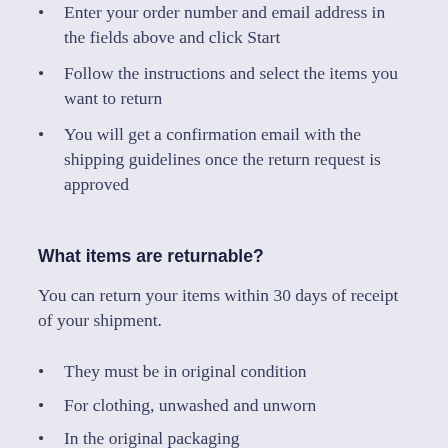Enter your order number and email address in the fields above and click Start
Follow the instructions and select the items you want to return
You will get a confirmation email with the shipping guidelines once the return request is approved
What items are returnable?
You can return your items within 30 days of receipt of your shipment.
They must be in original condition
For clothing, unwashed and unworn
In the original packaging